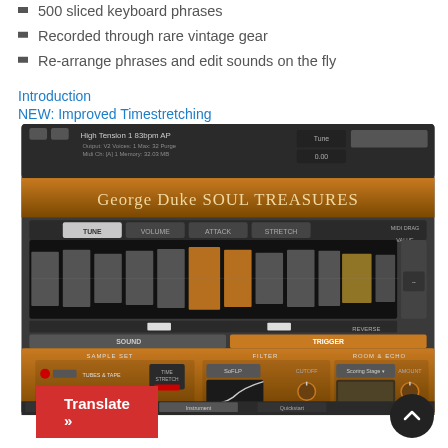500 sliced keyboard phrases
Recorded through rare vintage gear
Re-arrange phrases and edit sounds on the fly
Introduction
NEW: Improved Timestretching
[Figure (screenshot): George Duke Soul Treasures Kontakt instrument plugin screenshot showing waveform slicer interface with TUNE, VOLUME, ATTACK, STRETCH tabs, SOUND and TRIGGER buttons, SAMPLE SET with Tubes & Tape and Clean options, FILTER with SoFLP, and ROOM & ECHO with Scoring Stage preset]
Translate »